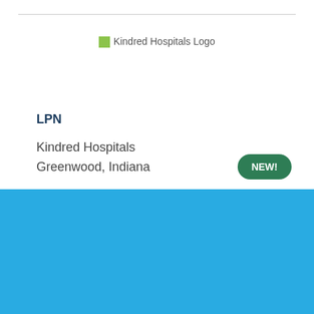[Figure (logo): Kindred Hospitals Logo]
LPN
Kindred Hospitals
Greenwood, Indiana
NEW!
Cookie Settings
Got it
We use cookies so that we can remember you and understand how you use our site. If you do not agree with our use of cookies, please change the current settings found in our Cookie Policy. Otherwise, you agree to the use of the cookies as they are currently set.